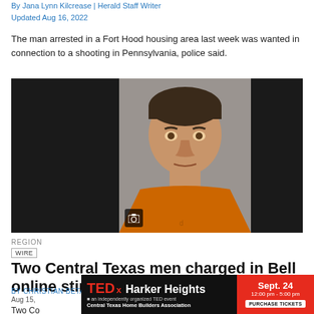By Jana Lynn Kilcrease | Herald Staff Writer
Updated Aug 16, 2022
The man arrested in a Fort Hood housing area last week was wanted in connection to a shooting in Pennsylvania, police said.
[Figure (photo): Mugshot of a man wearing an orange shirt, dark background on either side, camera icon overlay in bottom left]
REGION
WIRE
Two Central Texas men charged in Bell online sting
BY CHRISTIAN BETANCOURT | TELEGRAM STAFF
Aug 15,
Two Co
[Figure (infographic): TEDx Harker Heights advertisement banner. Left side shows TEDx logo and 'Harker Heights' text with 'an independently organized TED event' subtitle and 'Central Texas Home Builders Association'. Right side in red shows 'Sept. 24, 12:00 pm - 5:00 pm' and 'PURCHASE TICKETS' button.]